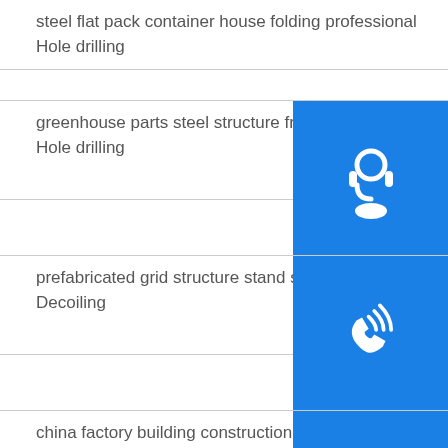steel flat pack container house folding professional Hole drilling
greenhouse parts steel structure frame greenhouse Hole drilling
prefabricated grid structure stand steel building Decoiling
china factory building construction light steel fr Decoiling
galvanized steel base cheap prefab portable container booth kiosk shop Strip sur
Projects
natural color wooden container prefab house price